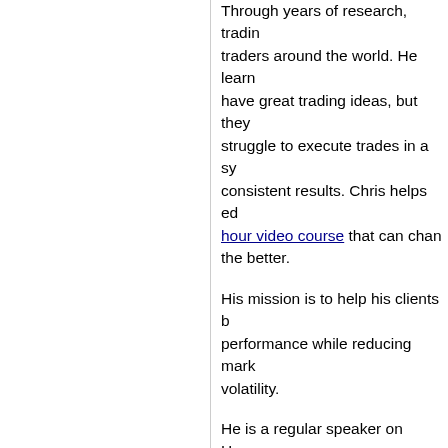Through years of research, trading and interviewing traders around the world. He learned that traders have great trading ideas, but they struggle to execute trades in a systematic way for consistent results. Chris helps educate using an hour video course that can change trading for the better.
His mission is to help his clients build performance while reducing market volatility.
He is a regular speaker on HoweSt FinancialSurvivorNetwork radio shows, has been featured on the cover of AmalgaT and contributes articles to several leading sites including MarketOracle.co.uk
Disclaimer: Nothing in this report should be considered a solicitation to buy or sell any securities. Traders Ltd., its owners and the authors are not registered broker-dealers or financial advisors. To buy any securities, you should consult with a registered broker-dealer. Never make investment decisions solely on what you read in an online report, particularly this report, especially if the investment...